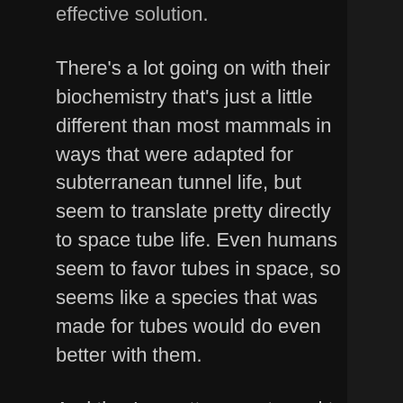effective solution.
There's a lot going on with their biochemistry that's just a little different than most mammals in ways that were adapted for subterranean tunnel life, but seem to translate pretty directly to space tube life. Even humans seem to favor tubes in space, so seems like a species that was made for tubes would do even better with them.
And they're pretty accustomed to being tightly packed into small spaces because they live literally crawling on top of one another in underground hives. And that segueys us back into the unique advantages of naked mole rats being eusocial, really hope I'm saying that right.
Insects have the best known eusocial species, bees and ants being the most familiar examples. Insects in general do have some